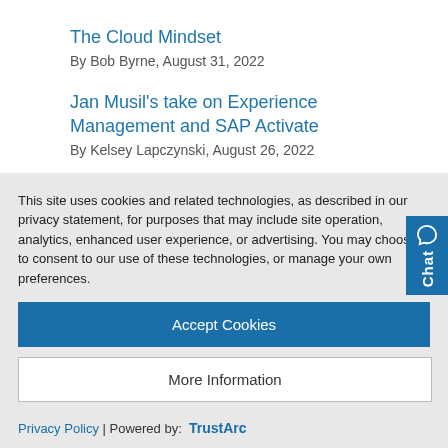The Cloud Mindset
By Bob Byrne, August 31, 2022
Jan Musil’s take on Experience Management and SAP Activate
By Kelsey Lapczynski, August 26, 2022
Have SAP Activate Feedback? We Want to Know.
By Daniel Ciecko, August 26, 2022
This site uses cookies and related technologies, as described in our privacy statement, for purposes that may include site operation, analytics, enhanced user experience, or advertising. You may choose to consent to our use of these technologies, or manage your own preferences.
Accept Cookies
More Information
Privacy Policy | Powered by: TrustArc